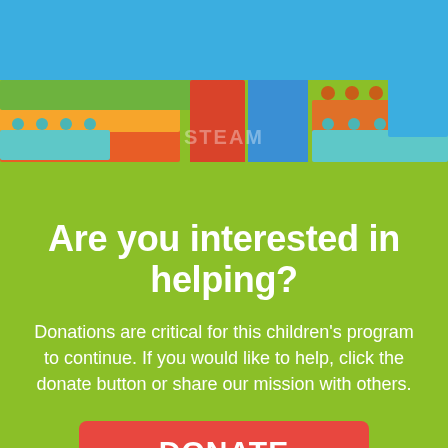[Figure (illustration): Colorful LEGO-style brick illustration banner at top of page featuring the 'STEAM UP' logo with colorful stacked brick towers in red, orange, green, blue, yellow against a blue sky background.]
Are you interested in helping?
Donations are critical for this children's program to continue. If you would like to help, click the donate button or share our mission with others.
DONATE